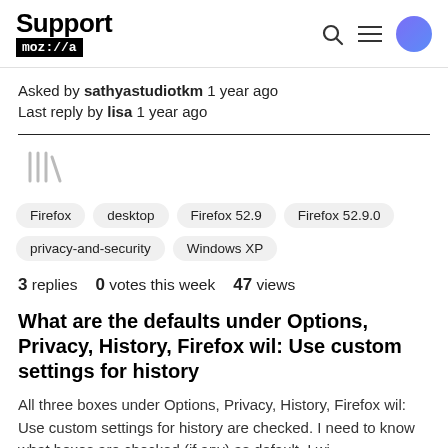Support mozilla// [search] [menu] [avatar]
Asked by sathyastudiotkm 1 year ago
Last reply by lisa 1 year ago
[Figure (other): Library/bookmark icon in gray]
Firefox
desktop
Firefox 52.9
Firefox 52.9.0
privacy-and-security
Windows XP
3 replies   0 votes this week   47 views
What are the defaults under Options, Privacy, History, Firefox wil: Use custom settings for history
All three boxes under Options, Privacy, History, Firefox wil: Use custom settings for history are checked. I need to know what boxes are checked (if any) as default. I wi...